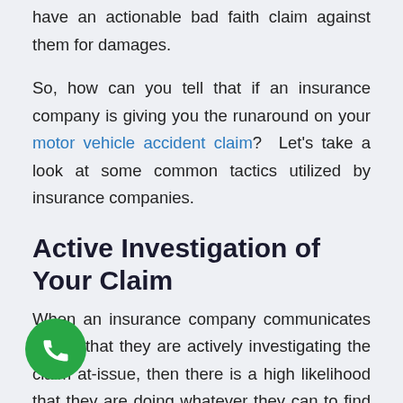have an actionable bad faith claim against them for damages.
So, how can you tell that if an insurance company is giving you the runaround on your motor vehicle accident claim? Let's take a look at some common tactics utilized by insurance companies.
Active Investigation of Your Claim
When an insurance company communicates to you that they are actively investigating the claim at-issue, then there is a high likelihood that they are doing whatever they can to find weaknesses in your claim — in the wake of a motor vehicle accident, many insurers conduct an independent factual investigation, of